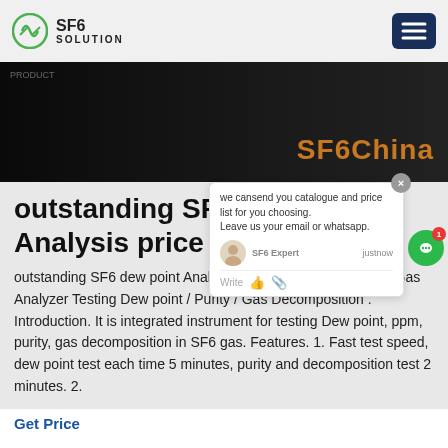SF6 SOLUTION
[Figure (photo): Dark hero banner with 'SF6China' text in orange on right side]
outstanding SF6 dew point Analysis price
outstanding SF6 dew point Analysis price Multi-Function SF6 Gas Analyzer Testing Dew point / Purity / Gas Decomposition . Introduction. It is integrated instrument for testing Dew point, ppm, purity, gas decomposition in SF6 gas. Features. 1. Fast test speed, dew point test each time 5 minutes, purity and decomposition test 2 minutes. 2.
Get Price